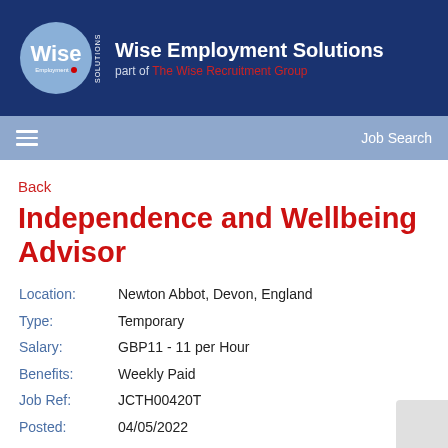Wise Employment Solutions — part of The Wise Recruitment Group
Back
Independence and Wellbeing Advisor
| Field | Value |
| --- | --- |
| Location: | Newton Abbot, Devon, England |
| Type: | Temporary |
| Salary: | GBP11 - 11 per Hour |
| Benefits: | Weekly Paid |
| Job Ref: | JCTH00420T |
| Posted: | 04/05/2022 |